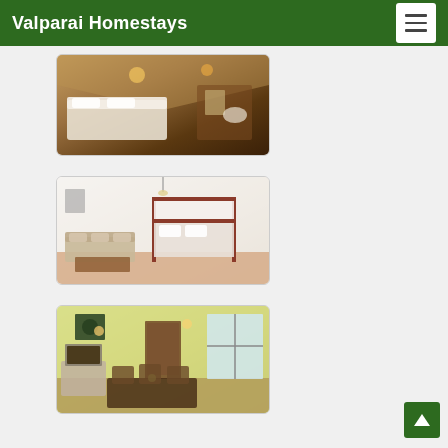Valparai Homestays
[Figure (photo): Interior of a luxury tent accommodation with a double bed with white linens, decorative curtains, pendant lamps, and a bathroom area visible in the background]
[Figure (photo): Bright white bedroom interior with a four-poster canopy bed with red/brown wooden frame, a sofa with cushions, a wooden coffee table, and tiled floor]
[Figure (photo): Dining/living room interior with yellow-green walls, wooden dining table and chairs, a painting on the wall, a fireplace, and large windows with garden view]